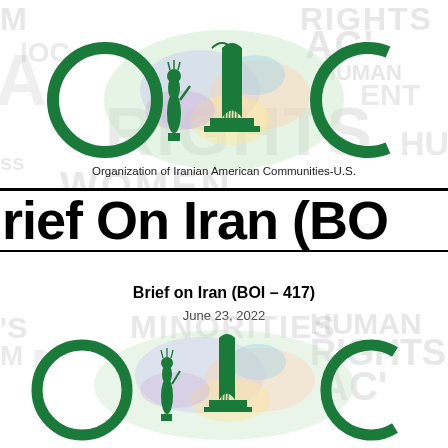[Figure (logo): OIC logo with Statue of Liberty, Azadi Tower, colorful Iran map, and watermark text including RIGHTS, HUMAN, WOMEN, MINORITIES. Organization of Iranian American Communities-U.S. logo at top.]
rief On Iran (BO
Brief on Iran (BOI – 417)
June 23, 2022
[Figure (logo): OIC logo repeated at bottom with Statue of Liberty, Azadi Tower, colorful Iran map, and watermark text MINORITIES, HUMAN RIGHTS, OIC, AC.]